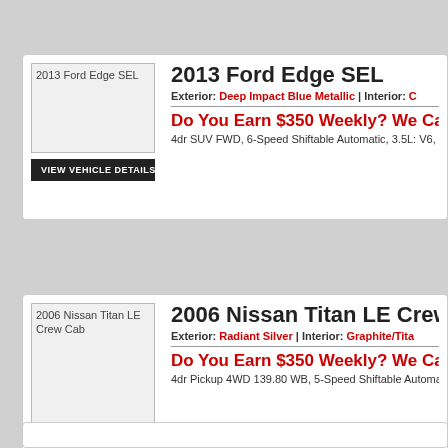[Figure (photo): 2013 Ford Edge SEL vehicle thumbnail image placeholder]
2013 Ford Edge SEL
Exterior: Deep Impact Blue Metallic | Interior: C
Do You Earn $350 Weekly? We Can He
4dr SUV FWD, 6-Speed Shiftable Automatic, 3.5L: V6, , , ,
[Figure (photo): 2006 Nissan Titan LE Crew Cab vehicle thumbnail image placeholder]
2006 Nissan Titan LE Crew
Exterior: Radiant Silver | Interior: Graphite/Tita
Do You Earn $350 Weekly? We Can He
4dr Pickup 4WD 139.80 WB, 5-Speed Shiftable Automatic,